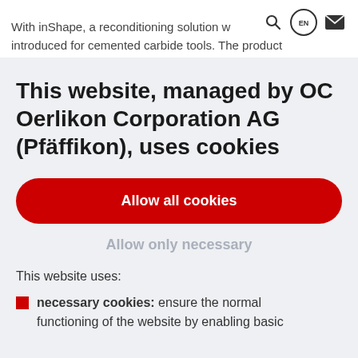With inShape, a reconditioning solution w introduced for cemented carbide tools. The product
This website, managed by OC Oerlikon Corporation AG (Pfäffikon), uses cookies
Allow all cookies
Allow only necessary
This website uses:
necessary cookies: ensure the normal functioning of the website by enabling basic